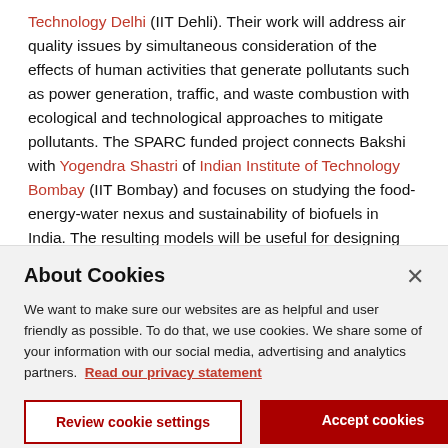Technology Delhi (IIT Dehli). Their work will address air quality issues by simultaneous consideration of the effects of human activities that generate pollutants such as power generation, traffic, and waste combustion with ecological and technological approaches to mitigate pollutants. The SPARC funded project connects Bakshi with Yogendra Shastri of Indian Institute of Technology Bombay (IIT Bombay) and focuses on studying the food-energy-water nexus and sustainability of biofuels in India. The resulting models will be useful for designing integrated technological and agro-ecological systems that provide
About Cookies
We want to make sure our websites are as helpful and user friendly as possible. To do that, we use cookies. We share some of your information with our social media, advertising and analytics partners. Read our privacy statement
Review cookie settings
Accept cookies